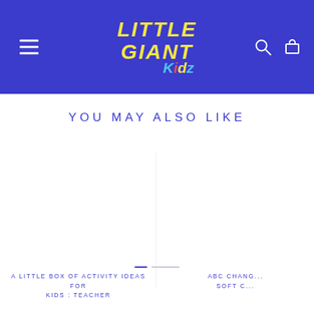Little Giant Kidz — navigation header with logo, hamburger menu, search icon, and cart icon
YOU MAY ALSO LIKE
ON SALE
[Figure (photo): Empty product image area for left product card]
[Figure (photo): Empty product image area for right product card (partially visible, ON SALE badge)]
A LITTLE BOX OF ACTIVITY IDEAS FOR KIDS : TEACHER
ABC CHANG... SOFT C...